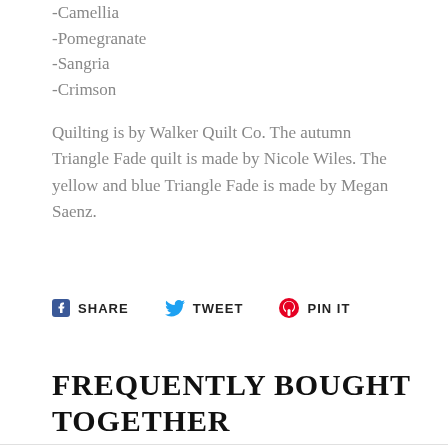-Camellia
-Pomegranate
-Sangria
-Crimson
Quilting is by Walker Quilt Co. The autumn Triangle Fade quilt is made by Nicole Wiles. The yellow and blue Triangle Fade is made by Megan Saenz.
SHARE  TWEET  PIN IT
FREQUENTLY BOUGHT TOGETHER